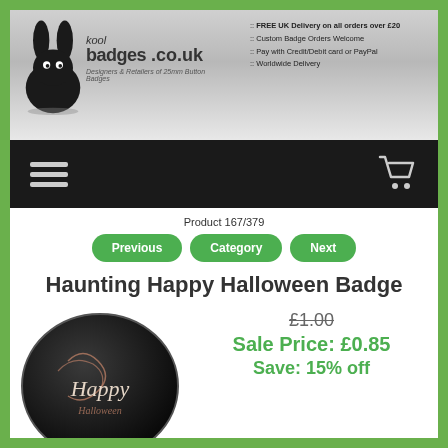[Figure (logo): Kool Badges .co.uk logo with black bunny silhouette]
:: FREE UK Delivery on all orders over £20
:: Custom Badge Orders Welcome
:: Pay with Credit/Debit card or PayPal
:: Worldwide Delivery
[Figure (other): Navigation bar with hamburger menu icon on left and shopping cart icon on right]
Product 167/379
Previous | Category | Next
Haunting Happy Halloween Badge
[Figure (photo): Round black Halloween badge with Happy Halloween text in decorative script]
£1.00
Sale Price: £0.85
Save: 15% off
Add to Basket: 1